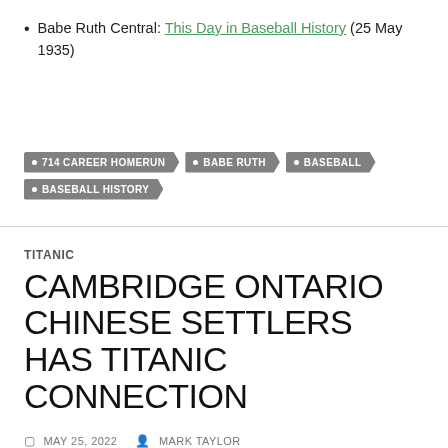Babe Ruth Central: This Day in Baseball History (25 May 1935)
714 CAREER HOMERUN • BABE RUTH • BASEBALL • BASEBALL HISTORY
TITANIC
CAMBRIDGE ONTARIO CHINESE SETTLERS HAS TITANIC CONNECTION
MAY 25, 2022  MARK TAYLOR